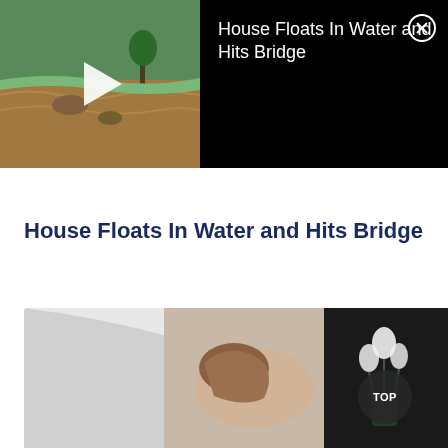[Figure (screenshot): Video player banner showing a flooded river scene with a play button on the left thumbnail, and video title 'House Floats In Water and Hits Bridge' with close (X) button on black background on the right]
House Floats In Water and Hits Bridge
[Figure (photo): Bottom portion of page showing a woman leaning over what appears to be a bed or floor, with white bedding/pillow on the left and dark background with flowers on the right. A 'TOP' button circle is visible in the lower right.]